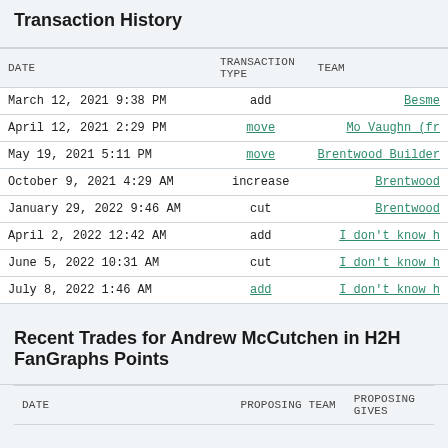Transaction History
| DATE | TRANSACTION TYPE | TEAM |
| --- | --- | --- |
| March 12, 2021 9:38 PM | add | Besme |
| April 12, 2021 2:29 PM | move | Mo Vaughn (fr |
| May 19, 2021 5:11 PM | move | Brentwood Builders |
| October 9, 2021 4:29 AM | increase | Brentwood |
| January 29, 2022 9:46 AM | cut | Brentwood |
| April 2, 2022 12:42 AM | add | I don't know h |
| June 5, 2022 10:31 AM | cut | I don't know h |
| July 8, 2022 1:46 AM | add | I don't know h |
Recent Trades for Andrew McCutchen in H2H FanGraphs Points
| DATE | PROPOSING TEAM | PROPOSING GIVES |
| --- | --- | --- |